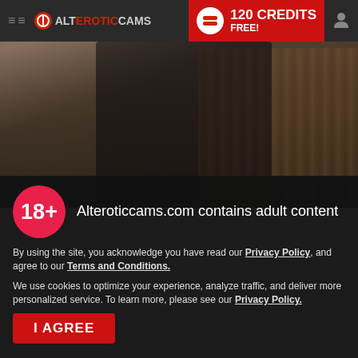≡ ≡  ALTEROTICCAMS  | 120 CREDITS FREE!
[Figure (photo): Adult content website screenshot showing a person in a black robe with navigation bar and age verification overlay]
Alteroticcams.com contains adult content
By using the site, you acknowledge you have read our Privacy Policy, and agree to our Terms and Conditions.
We use cookies to optimize your experience, analyze traffic, and deliver more personalized service. To learn more, please see our Privacy Policy.
I AGREE